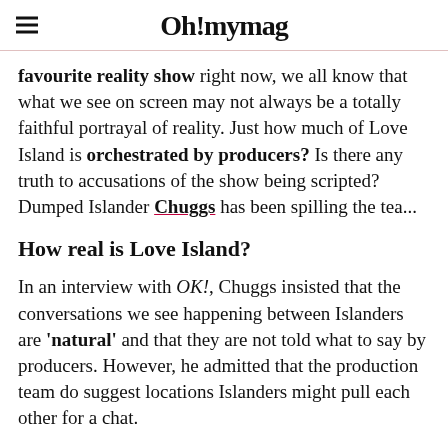Oh! mymag
favourite reality show right now, we all know that what we see on screen may not always be a totally faithful portrayal of reality. Just how much of Love Island is orchestrated by producers? Is there any truth to accusations of the show being scripted? Dumped Islander Chuggs has been spilling the tea...
How real is Love Island?
In an interview with OK!, Chuggs insisted that the conversations we see happening between Islanders are 'natural' and that they are not told what to say by producers. However, he admitted that the production team do suggest locations Islanders might pull each other for a chat.